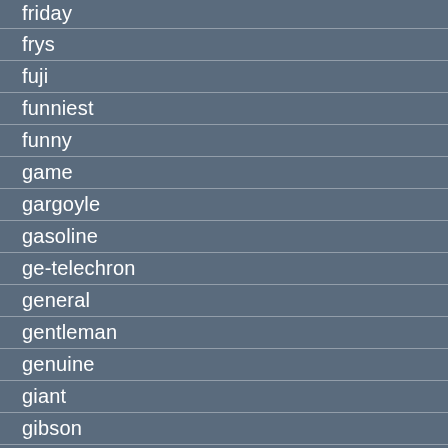friday
frys
fuji
funniest
funny
game
gargoyle
gasoline
ge-telechron
general
gentleman
genuine
giant
gibson
give
glassware